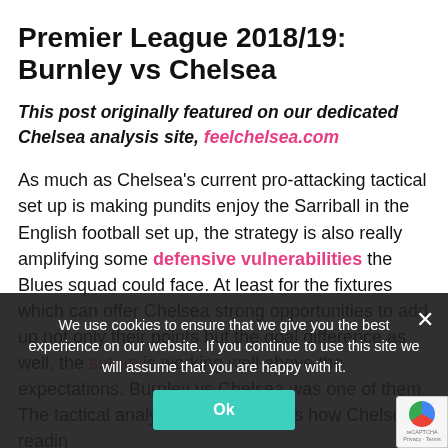Premier League 2018/19: Burnley vs Chelsea
This post originally featured on our dedicated Chelsea analysis site, feelchelsea.com
As much as Chelsea's current pro-attacking tactical set up is making pundits enjoy the Sarriball in the English football set up, the strategy is also really amplifying some defensive vulnerabilities the Blues squad could face. At least for the fixtures which can offer Chelsea strong opportunities to add up not only their points but the goal difference as well, the set up is working well above the expectations. Burnley vs Chelsea was one of them. The tactical analysis below explains how Chelsea's reading led them to exploit the home team's defensive organisation during transitions.
We use cookies to ensure that we give you the best experience on our website. If you continue to use this site we will assume that you are happy with it. Ok